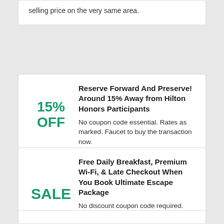selling price on the very same area.
15% OFF
Reserve Forward And Preserve! Around 15% Away from Hilton Honors Participants
No coupon code essential. Rates as marked. Faucet to buy the transaction now.
SALE
Free Daily Breakfast, Premium Wi-Fi, & Late Checkout When You Book Ultimate Escape Package
No discount coupon code required. Prices as marked. Faucet to go shopping the sale now.